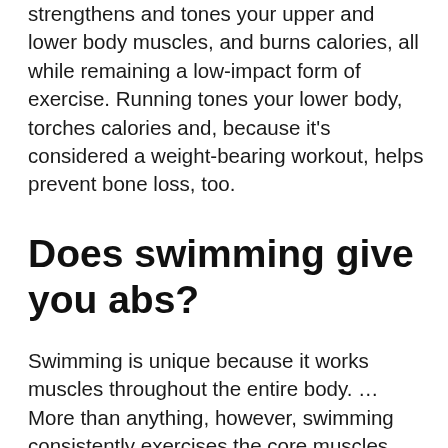Swimming boosts your heart rate, strengthens and tones your upper and lower body muscles, and burns calories, all while remaining a low-impact form of exercise. Running tones your lower body, torches calories and, because it's considered a weight-bearing workout, helps prevent bone loss, too.
Does swimming give you abs?
Swimming is unique because it works muscles throughout the entire body. … More than anything, however, swimming consistently exercises the core muscles and enables your abs to aid in overall stability and body control. Simply put, core muscles